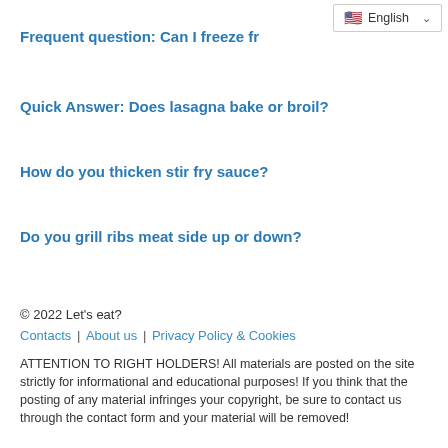Frequent question: Can I freeze fr
Quick Answer: Does lasagna bake or broil?
How do you thicken stir fry sauce?
Do you grill ribs meat side up or down?
© 2022 Let's eat?
Contacts | About us | Privacy Policy & Cookies
ATTENTION TO RIGHT HOLDERS! All materials are posted on the site strictly for informational and educational purposes! If you think that the posting of any material infringes your copyright, be sure to contact us through the contact form and your material will be removed!